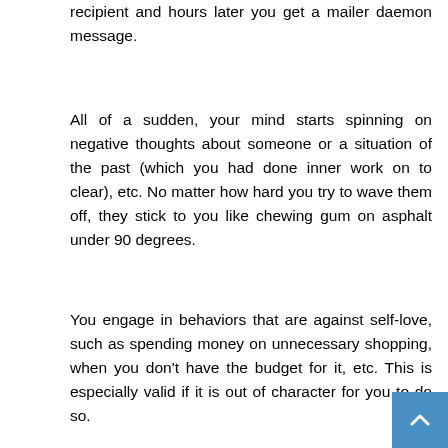recipient and hours later you get a mailer daemon message.
All of a sudden, your mind starts spinning on negative thoughts about someone or a situation of the past (which you had done inner work on to clear), etc. No matter how hard you try to wave them off, they stick to you like chewing gum on asphalt under 90 degrees.
You engage in behaviors that are against self-love, such as spending money on unnecessary shopping, when you don't have the budget for it, etc. This is especially valid if it is out of character for you to do so.
The possibilities are endless, so ultimately it's up to each of us to recognize and make note of these patterns, as they are personal. It took me several years to recognize what happens to me when I am effected by lower energies. Experiencing a combination of these on